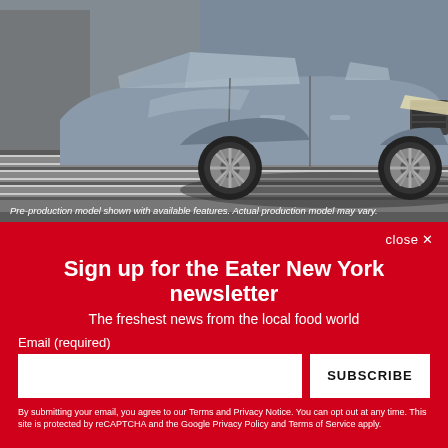[Figure (photo): A silver/grey Infiniti SUV (QX60) photographed on a city street crossing a crosswalk, front-three-quarter view from driver side]
Pre-production model shown with available features. Actual production model may vary.
close ✕
Sign up for the Eater New York newsletter
The freshest news from the local food world
Email (required)
SUBSCRIBE
By submitting your email, you agree to our Terms and Privacy Notice. You can opt out at any time. This site is protected by reCAPTCHA and the Google Privacy Policy and Terms of Service apply.